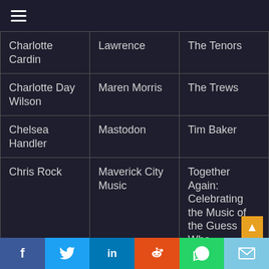≡
| Charlotte Cardin | Lawrence | The Tenors |
| Charlotte Day Wilson | Maren Morris | The Trews |
| Chelsea Handler | Mastodon | Tim Baker |
| Chris Rock | Maverick City Music | Together Again: Celebrating the Music of the Guess Who |
f  Twitter  in  Reddit  WhatsApp  Email